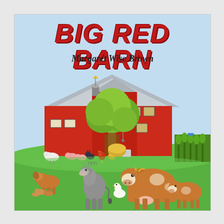BIG RED BARN
Margaret Wise Brown
[Figure (illustration): Children's book cover for 'Big Red Barn' by Margaret Wise Brown. Features a large red barn with a grey roof in the center, a green deciduous tree in front, a bright green grassy field, and various farm animals including a cow, calf, donkey, dog with puppies, goose, sheep, pigs, chickens, and a rooster in the foreground. A cornfield and blue sky are visible in the background.]